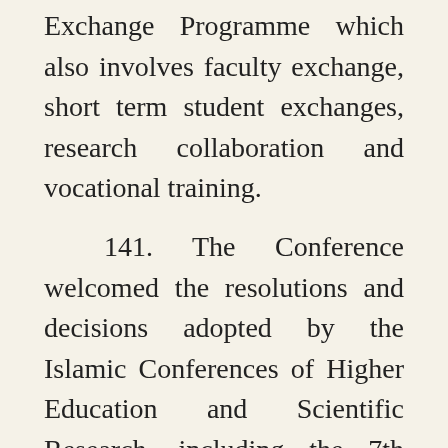Exchange Programme which also involves faculty exchange, short term student exchanges, research collaboration and vocational training.
141. The Conference welcomed the resolutions and decisions adopted by the Islamic Conferences of Higher Education and Scientific Research, including the 7th Islamic Conference of Ministers of Higher Education and Scientific Research (Rabat, 18-19 December 2014) and welcomed the Refe... Leve... Committee on the implementation